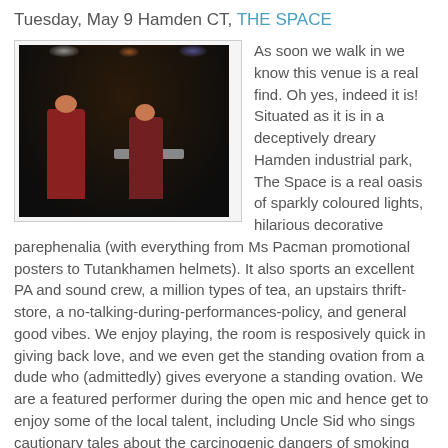Tuesday, May 9 Hamden CT, THE SPACE
[Figure (photo): Band performing on stage with coloured lights, two figures playing guitar and keyboard]
As soon we walk in we know this venue is a real find. Oh yes, indeed it is! Situated as it is in a deceptively dreary Hamden industrial park, The Space is a real oasis of sparkly coloured lights, hilarious decorative parephenalia (with everything from Ms Pacman promotional posters to Tutankhamen helmets). It also sports an excellent PA and sound crew, a million types of tea, an upstairs thrift-store, a no-talking-during-performances-policy, and general good vibes. We enjoy playing, the room is resposively quick in giving back love, and we even get the standing ovation from a dude who (admittedly) gives everyone a standing ovation. We are a featured performer during the open mic and hence get to enjoy some of the local talent, including Uncle Sid who sings cautionary tales about the carcinogenic dangers of smoking with the backdrop of his
[Figure (photo): Two people photographed indoors in dim lighting]